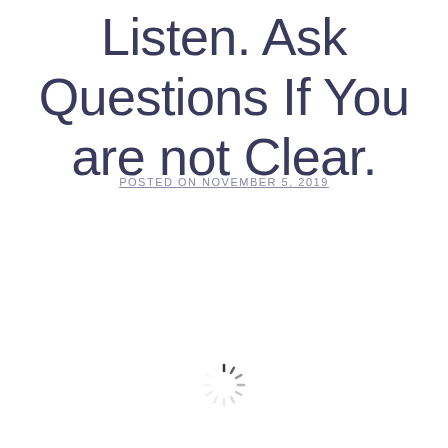Listen. Ask Questions If You are not Clear.
POSTED ON NOVEMBER 5, 2019
[Figure (other): Spinning loading indicator (circular dashed spinner icon)]